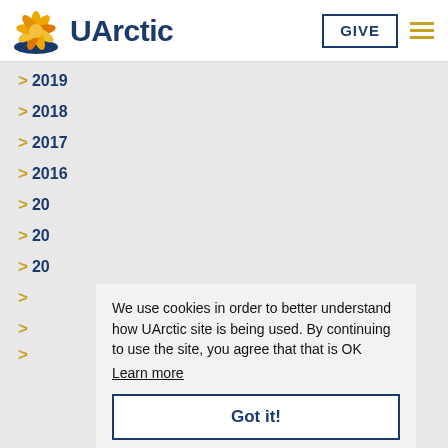UArctic
> 2019
> 2018
> 2017
> 2016
> 20
> 20
> 20
We use cookies in order to better understand how UArctic site is being used. By continuing to use the site, you agree that that is OK
Learn more
Got it!